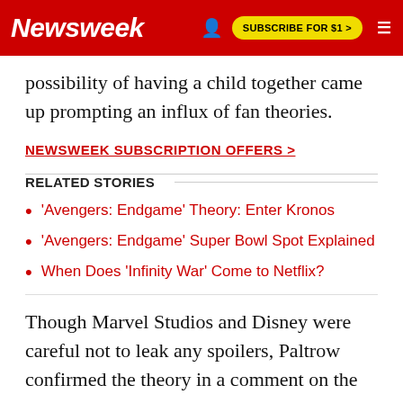Newsweek | SUBSCRIBE FOR $1 >
possibility of having a child together came up prompting an influx of fan theories.
NEWSWEEK SUBSCRIPTION OFFERS >
RELATED STORIES
'Avengers: Endgame' Theory: Enter Kronos
'Avengers: Endgame' Super Bowl Spot Explained
When Does 'Infinity War' Come to Netflix?
Though Marvel Studios and Disney were careful not to leak any spoilers, Paltrow confirmed the theory in a comment on the